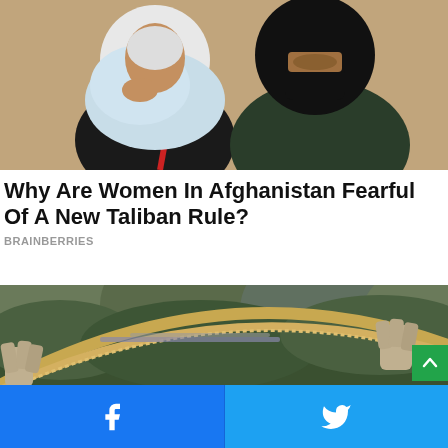[Figure (photo): Two women wearing hijabs and dark clothing, one with a light blue scarf and one with a black face mask, standing in front of a beige wall]
Why Are Women In Afghanistan Fearful Of A New Taliban Rule?
BRAINBERRIES
[Figure (photo): Aerial view of the Golden Bridge (Cau Vang) in Vietnam with large stone hands holding the bridge, crowded with tourists, surrounded by green forested mountains]
Facebook share button | Twitter share button